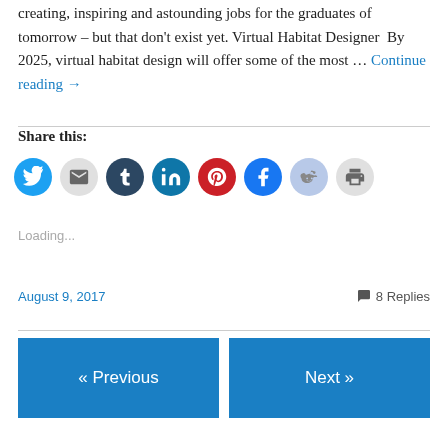creating, inspiring and astounding jobs for the graduates of tomorrow – but that don't exist yet. Virtual Habitat Designer  By 2025, virtual habitat design will offer some of the most … Continue reading →
Share this:
[Figure (infographic): Row of eight social sharing icon circles: Twitter (blue), Email (light gray), Tumblr (dark navy), LinkedIn (teal-blue), Pinterest (red), Facebook (blue), Reddit (light blue-gray), Print (light gray)]
Loading...
August 9, 2017    8 Replies
« Previous    Next »